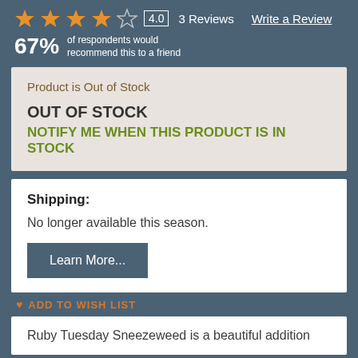[Figure (other): Star rating display: 4 filled orange stars and 1 empty star outline, score 4.0, 3 Reviews, Write a Review link]
67% of respondents would recommend this to a friend
Product is Out of Stock
OUT OF STOCK
NOTIFY ME WHEN THIS PRODUCT IS IN STOCK
Shipping:
No longer available this season.
Learn More...
ADD TO WISH LIST
Ruby Tuesday Sneezeweed is a beautiful addition